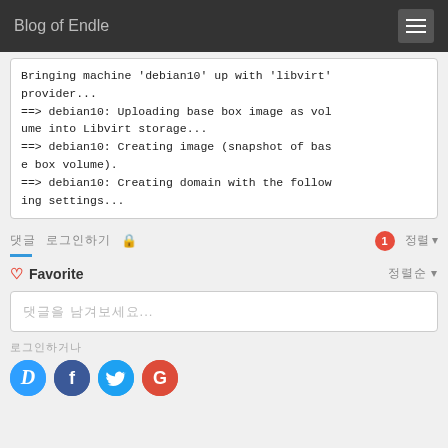Blog of Endle
Bringing machine 'debian10' up with 'libvirt' provider...
==> debian10: Uploading base box image as volume into Libvirt storage...
==> debian10: Creating image (snapshot of base box volume).
==> debian10: Creating domain with the following settings...
댓글 로그인하기 🔒 1 정렬 ▾
♡ Favorite 정렬순 ▾
댓글을 남겨보세요...
로그인하거나
[Figure (infographic): Social login icons: Disqus (D), Facebook (f), Twitter (bird), Google (G)]